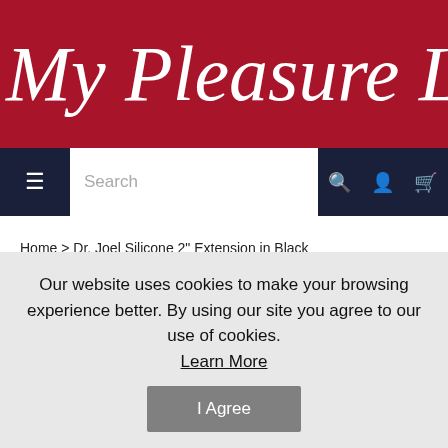My Pleasure Lab
[Figure (screenshot): Navigation bar with hamburger menu, search input, and icons for search, account, and cart on dark navy background]
Home > Dr. Joel Silicone 2" Extension in Black
Dr. Joel Silicone 2" Extension in Black
Our website uses cookies to make your browsing experience better. By using our site you agree to our use of cookies. Learn More
I Agree